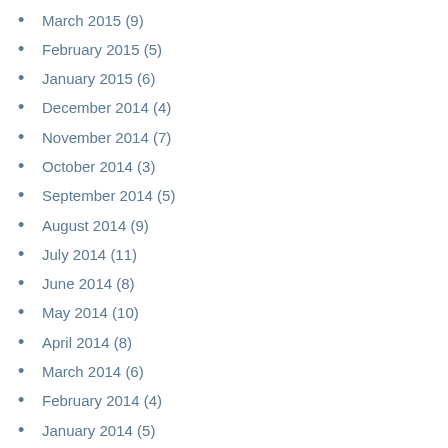March 2015 (9)
February 2015 (5)
January 2015 (6)
December 2014 (4)
November 2014 (7)
October 2014 (3)
September 2014 (5)
August 2014 (9)
July 2014 (11)
June 2014 (8)
May 2014 (10)
April 2014 (8)
March 2014 (6)
February 2014 (4)
January 2014 (5)
December 2013 (3)
November 2013 (5)
October 2013 (5)
September 2013 (8)
August 2013 (9)
July 2013 (6)